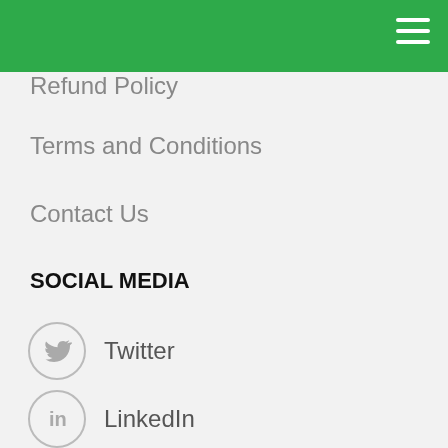Refund Policy
Terms and Conditions
Contact Us
SOCIAL MEDIA
Twitter
LinkedIn
Facebook
WE ACCEPT